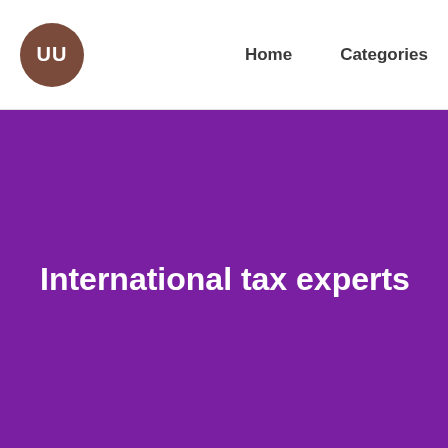[Figure (logo): Brown circle logo with white letters UU]
Home    Categories
International tax experts